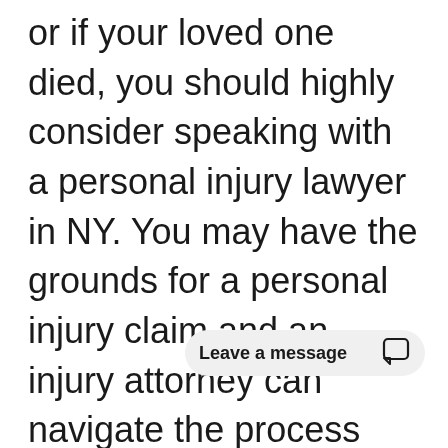or if your loved one died, you should highly consider speaking with a personal injury lawyer in NY. You may have the grounds for a personal injury claim and an injury attorney can navigate the process and maximize your compensation. Personal injury lawyers will help you file your claim, equip you with the necessary information, and assign tasks t[o help build ]your case, such as seeking medical attention or keeping a diary of your injuries or limitations.